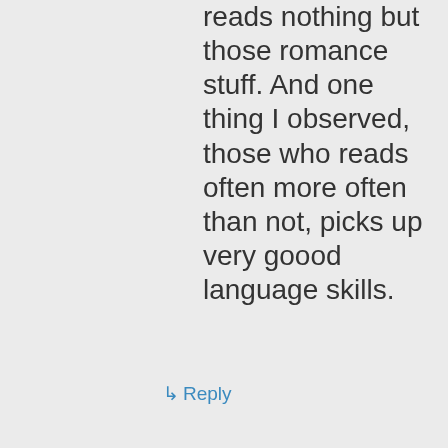reads nothing but those romance stuff. And one thing I observed, those who reads often more often than not, picks up very goood language skills.
↳ Reply